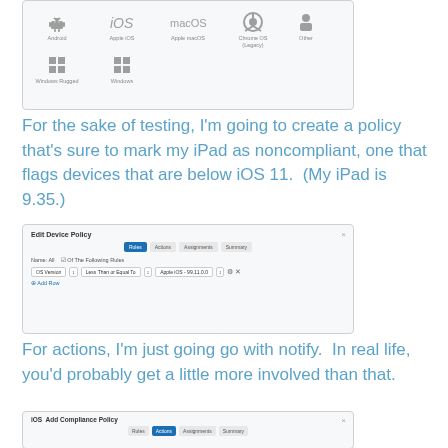[Figure (screenshot): Screenshot showing OS platform icons: Android, Apple iOS, Apple macOS, Chrome OS (Legacy), Other, Windows Rugged, Windows]
For the sake of testing, I'm going to create a policy that's sure to mark my iPad as noncompliant, one that flags devices that are below iOS 11.  (My iPad is 9.35.)
[Figure (screenshot): Edit Device Policy dialog with Rules tab active, showing a rule: OS Version | Less Than or Equal To | Apple iOS - 99.11.0.0, with Add Row button]
For actions, I'm just going go with notify.  In real life, you'd probably get a little more involved than that.
[Figure (screenshot): iOS Add Compliance Policy dialog with Actions tab active, showing Immediately perform the following actions: Mark as Non-Compliant checked, Notify row with Send Email to User fields]